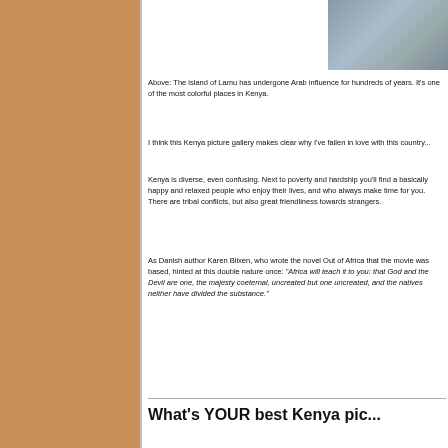[Figure (photo): Partial photo visible at top right showing what appears to be items on a surface with decorative patterns, cropped at page edge.]
Above: The island of Lamu has undergone Arab influence for hundreds of years. It's one of the most colorful places in Kenya.
I think this Kenya picture gallery makes clear why I've fallen in love with this country...
Kenya is diverse, even confusing. Next to poverty and hardship you'll find a basically happy and relaxed people who enjoy their lives, and who always make time for you. There are tribal conflicts, but also great friendliness towards strangers.
As Danish author Karen Blixen, who wrote the novel Out of Africa that the movie was based, hinted at this double nature once: "Africa will teach it to you: that God and the Devil are one, the majesty coeternal, uncreated but one uncreated, and the natives neither have divided the substance."
What's YOUR best Kenya pic...